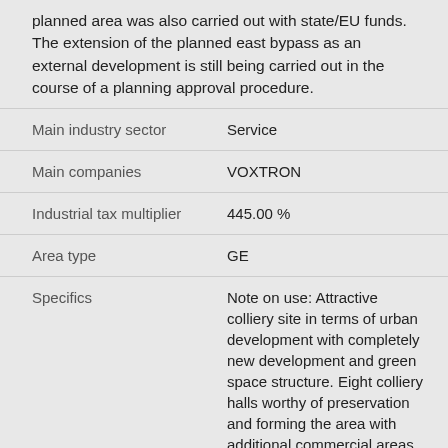planned area was also carried out with state/EU funds. The extension of the planned east bypass as an external development is still being carried out in the course of a planning approval procedure.
| Field | Value |
| --- | --- |
| Main industry sector | Service |
| Main companies | VOXTRON |
| Industrial tax multiplier | 445.00 % |
| Area type | GE |
| Specifics | Note on use: Attractive colliery site in terms of urban development with completely new development and green space structure. Eight colliery halls worthy of preservation and forming the area with additional commercial areas are available. |